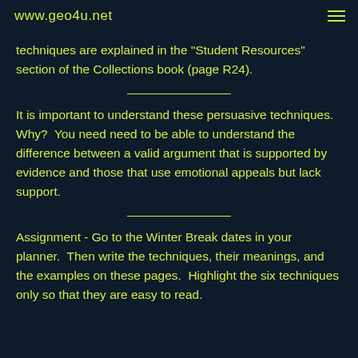www.geo4u.net
techniques are explained in the "Student Resources" section of the Collections book (page R24).
It is important to understand these persuasive techniques.  Why?  You need need to be able to understand the difference between a valid argument that is supported by evidence and those that use emotional appeals but lack support.
Assignment - Go to the Winter Break dates in your planner.  Then write the techniques, their meanings, and the examples on these pages.  Highlight the six techniques only so that they are easy to read.